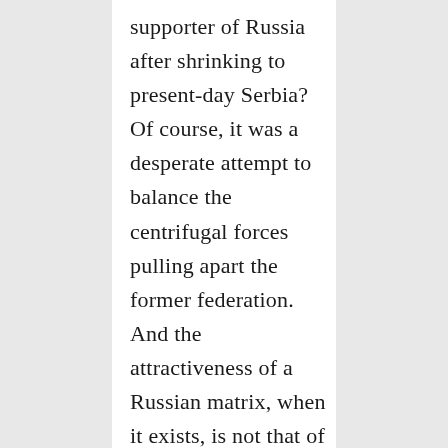supporter of Russia after shrinking to present-day Serbia? Of course, it was a desperate attempt to balance the centrifugal forces pulling apart the former federation. And the attractiveness of a Russian matrix, when it exists, is not that of a civilizational cradle—in part because so many of Russia's genius writers, musicians, and